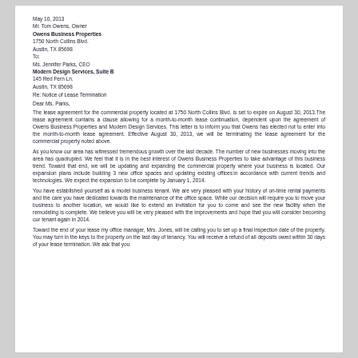May 10, 2013
Mr. Tom Owens, Owner
Owens Business Properties
1750 North Collins Blvd.
Austin, TX 85698
To:
Ms. Jennifer Parks, CEO
Modern Design Services, Suite B
145 Red Fern Ln.
Austin, TX 85698
Re: Notice of Lease Termination
Dear Ms. Parks,
The lease agreement for the commercial property located at 1750 North Collins Blvd. is set to expire on August 30, 2013.The lease agreement contains a clause allowing for a month-to-month lease continuation, dependent upon the agreement of Owens Business Properties and Modern Design Services. This letter is to inform you that Owens has elected not to enter into the month-to-month lease agreement. Effective August 30, 2013, we will be terminating the lease agreement for the commercial property noted above.
As you know our area has witnessed tremendous growth over the last decade. The number of new businesses moving into the area has quadrupled. We feel that it is in the best interest of Owens Business Properties to take advantage of this business trend. Toward that end, we will be updating and expanding the commercial property where your business is located. Our expansion plans include building 3 new office spaces and updating existing offices in accordance with current trends and technologies. We expect the expansion to be complete by January 1, 2014.
You have established yourself as a model business tenant. We are very pleased with your history of on-time rental payments and the care you have dedicated towards the maintenance of the office space. While our decision will require you to move your business to another location, we would like to extend an invitation for you to come and see the new facility when the remodeling is complete. We believe you will be very pleased with the improvements and hope that you will consider becoming our tenant again in 2014.
Toward the end of your lease my office manager, Mrs. Jones, will be calling you to set up a final inspection date of the property. You may turn in the keys to the property on the last day of tenancy. You will receive a refund of all deposits owed within 30 days of your lease termination. We ask that you